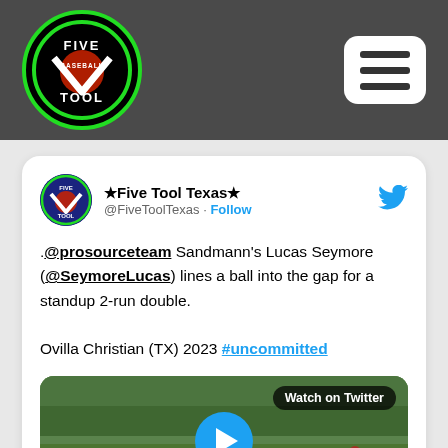[Figure (logo): Five Tool Baseball circular logo with green border on dark header bar, and hamburger menu button on right]
[Figure (screenshot): Twitter/X post from @FiveToolTexas showing tweet about Lucas Seymore hitting a standup 2-run double, with video thumbnail of baseball game]
★Five Tool Texas★ @FiveToolTexas · Follow
.@prosourceteam Sandmann's Lucas Seymore (@SeymoreLucas) lines a ball into the gap for a standup 2-run double.

Ovilla Christian (TX) 2023 #uncommitted
Watch on Twitter